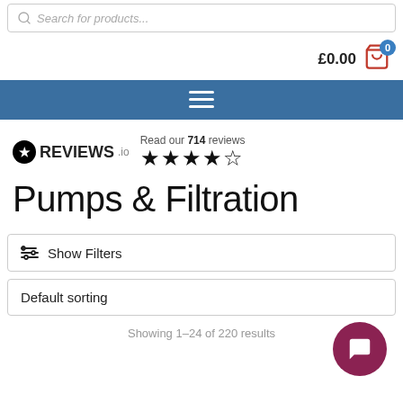Search for products...
£0.00
Navigation menu (hamburger icon)
[Figure (logo): REVIEWS.io logo with star circle icon]
Read our 714 reviews ★★★★☆
Pumps & Filtration
Show Filters
Default sorting
Showing 1–24 of 220 results
[Figure (illustration): Chat/message floating action button (dark red circle with speech bubble icon)]